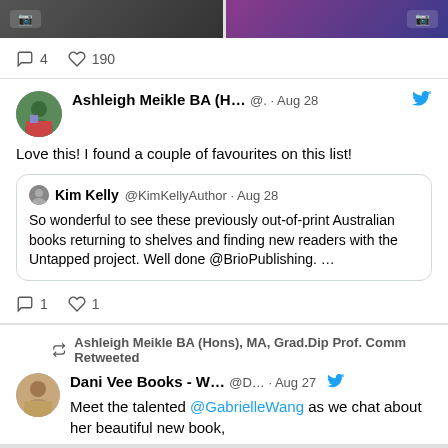[Figure (screenshot): Top image strip showing two colored image blocks]
4  190
Ashleigh Meikle BA (H... @. · Aug 28
Love this! I found a couple of favourites on this list!
Kim Kelly @KimKellyAuthor · Aug 28
So wonderful to see these previously out-of-print Australian books returning to shelves and finding new readers with the Untapped project. Well done @BrioPublishing. …
1  1
Ashleigh Meikle BA (Hons), MA, Grad.Dip Prof. Comm Retweeted
Dani Vee Books - W... @D... · Aug 27
Meet the talented @GabrielleWang as we chat about her beautiful new book,